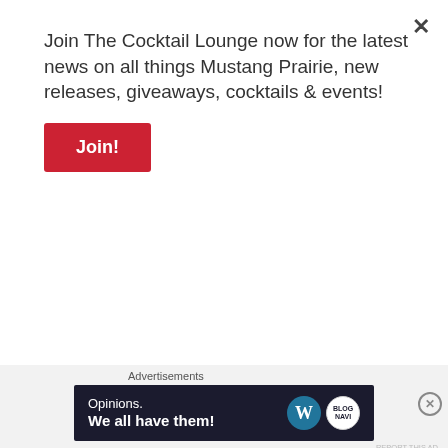Join The Cocktail Lounge now for the latest news on all things Mustang Prairie, new releases, giveaways, cocktails & events!
Join!
[Figure (illustration): Brown otter/beaver cartoon illustration, partially visible at bottom left]
[Figure (photo): Dark maroon/brown rectangle banner at top right]
[Figure (photo): Person's hands writing with a pen on paper, wearing a grey long-sleeve shirt]
Advertisements
[Figure (other): Advertisement banner with dark navy background reading 'Opinions. We all have them!' with WordPress W logo and another circular logo on the right]